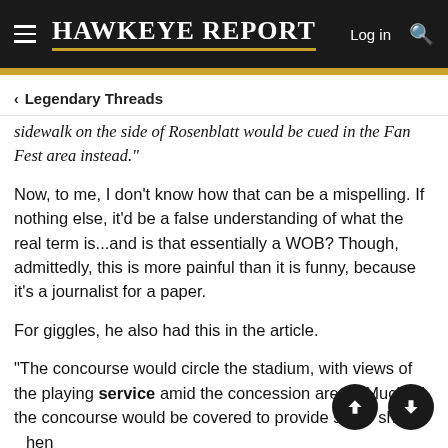HAWKEYE REPORT
< Legendary Threads
sidewalk on the side of Rosenblatt would be cued in the Fan Fest area instead."
Now, to me, I don't know how that can be a mispelling. If nothing else, it'd be a false understanding of what the real term is...and is that essentially a WOB? Though, admittedly, this is more painful than it is funny, because it's a journalist for a paper.
For giggles, he also had this in the article.
"The concourse would circle the stadium, with views of the playing service amid the concession areas. Much of the concourse would be covered to provide some shelter when it rains."